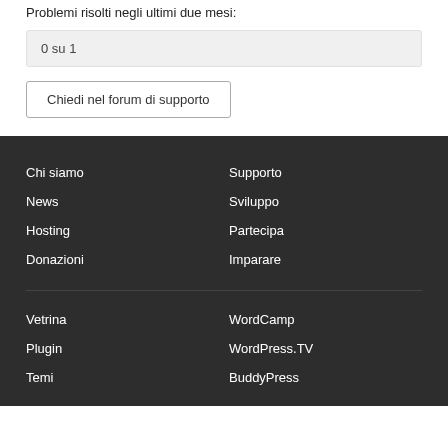Problemi risolti negli ultimi due mesi:
0 su 1
Chiedi nel forum di supporto
Chi siamo
Supporto
News
Sviluppo
Hosting
Partecipa
Donazioni
Imparare
Vetrina
WordCamp
Plugin
WordPress.TV
Temi
BuddyPress